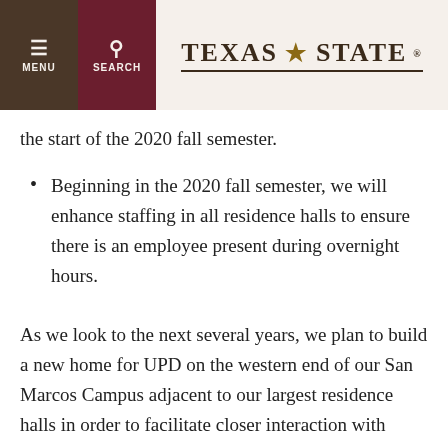MENU | SEARCH | TEXAS STATE
the start of the 2020 fall semester.
Beginning in the 2020 fall semester, we will enhance staffing in all residence halls to ensure there is an employee present during overnight hours.
As we look to the next several years, we plan to build a new home for UPD on the western end of our San Marcos Campus adjacent to our largest residence halls in order to facilitate closer interaction with students. That new building is in the design stage. Next year, we plan to relocate UPD on the Round